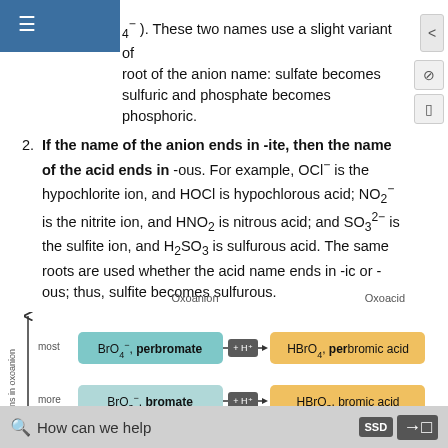4° ). These two names use a slight variant of the root of the anion name: sulfate becomes sulfuric and phosphate becomes phosphoric.
If the name of the anion ends in -ite, then the name of the acid ends in -ous. For example, OCl⁻ is the hypochlorite ion, and HOCl is hypochlorous acid; NO₂⁻ is the nitrite ion, and HNO₂ is nitrous acid; and SO₃²⁻ is the sulfite ion, and H₂SO₃ is sulfurous acid. The same roots are used whether the acid name ends in -ic or -ous; thus, sulfite becomes sulfurous.
[Figure (infographic): Diagram showing conversion of oxoanions to oxoacids by adding H+. Row 1: BrO4- perbromate → +H+ → HBrO4 perbromic acid. Row 2: BrO3- bromate → +H+ → HBrO3 bromic acid. Left axis label: oxygens in oxoanion (most to more). Column headers: Oxoanion, Oxoacid.]
How can we help